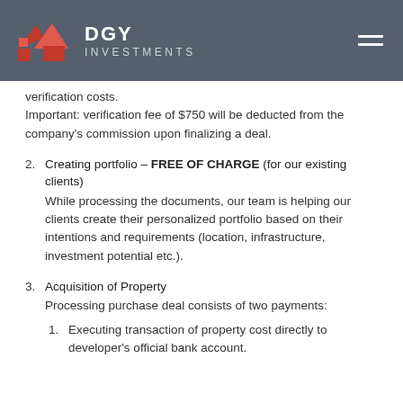DGY INVESTMENTS
verification costs.
Important: verification fee of $750 will be deducted from the company's commission upon finalizing a deal.
2. Creating portfolio – FREE OF CHARGE (for our existing clients)
While processing the documents, our team is helping our clients create their personalized portfolio based on their intentions and requirements (location, infrastructure, investment potential etc.).
3. Acquisition of Property
Processing purchase deal consists of two payments:
1. Executing transaction of property cost directly to developer's official bank account.